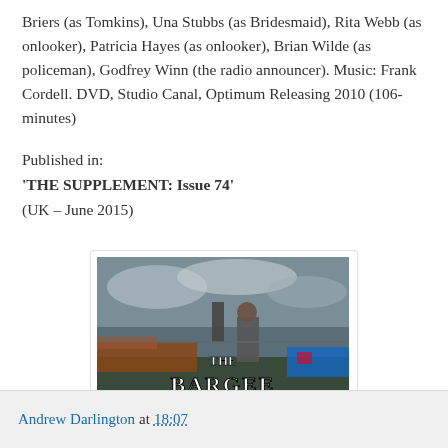Briers (as Tomkins), Una Stubbs (as Bridesmaid), Rita Webb (as onlooker), Patricia Hayes (as onlooker), Brian Wilde (as policeman), Godfrey Winn (the radio announcer). Music: Frank Cordell. DVD, Studio Canal, Optimum Releasing 2010 (106-minutes)
Published in:
'THE SUPPLEMENT: Issue 74'
(UK – June 2015)
[Figure (photo): A still from the film 'The Bargee' showing a person on a canal barge. The title 'THE BARGEE' is overlaid in large white serif text on the image.]
Andrew Darlington at 18:07